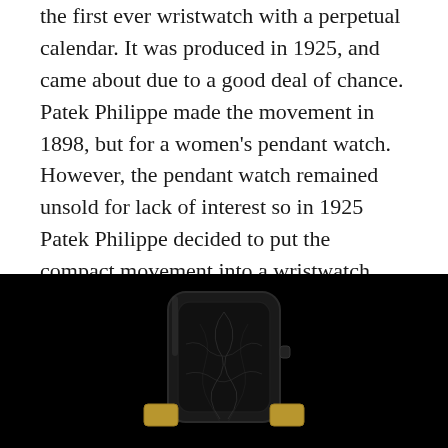the first ever wristwatch with a perpetual calendar. It was produced in 1925, and came about due to a good deal of chance. Patek Philippe made the movement in 1898, but for a women's pendant watch. However, the pendant watch remained unsold for lack of interest so in 1925 Patek Philippe decided to put the compact movement into a wristwatch case. At only 34.4mm in diameter, the watch was finally sold in October 1927 to Thomas Emery, an American who also owned several other high-end Patek Philippe timepieces.
[Figure (photo): A black and white photograph of a Patek Philippe wristwatch with a dark/black dial face, shown against a black background. The watch appears to be a vintage rectangular or cushion-shaped case with gold lugs visible at the bottom.]